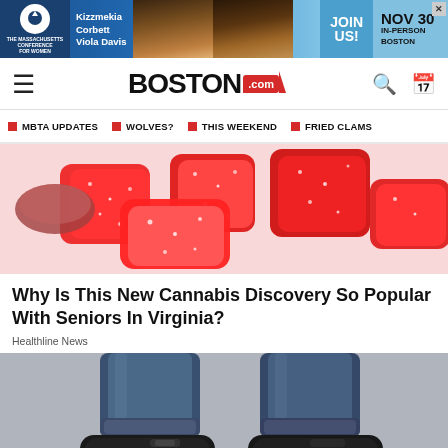[Figure (screenshot): Advertisement banner for Massachusetts Conference for Women featuring Kizzmekia Corbett and Viola Davis, with JOIN US! and NOV 30 IN-PERSON BOSTON text]
BOSTON.com
MBTA UPDATES
WOLVES?
THIS WEEKEND
FRIED CLAMS
[Figure (photo): Close-up photo of red sugar-coated candy gummies spilled from a tin]
Why Is This New Cannabis Discovery So Popular With Seniors In Virginia?
Healthline News
[Figure (photo): Photo of person wearing black orthopedic/comfort shoes with white soles and jeans]